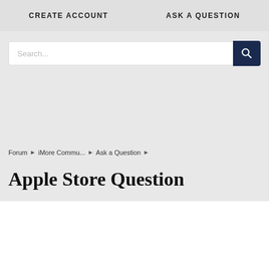CREATE ACCOUNT    ASK A QUESTION
[Figure (screenshot): Search bar with text input placeholder 'Search...' and a dark navy search button with magnifying glass icon]
Forum › iMore Commu... › Ask a Question ›
Apple Store Question